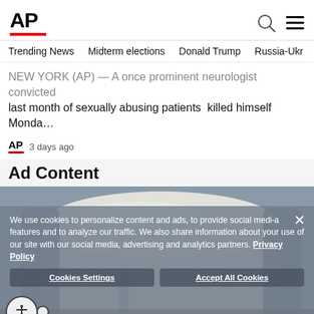AP
Trending News   Midterm elections   Donald Trump   Russia-Ukr
NEW YORK (AP) — A once prominent neurologist convicted last month of sexually abusing patients killed himself Monda…
AP  3 days ago
Ad Content
[Figure (photo): Close-up photo of a white kitchen appliance (appears to be a refrigerator or dishwasher) with a cookie consent overlay dialog in the foreground. The overlay reads: 'We use cookies to personalize content and ads, to provide social media features and to analyze our traffic. We also share information about your use of our site with our social media, advertising and analytics partners. Privacy Policy' with buttons 'Cookies Settings' and 'Accept All Cookies'. An accessibility icon button is visible in the bottom left.]